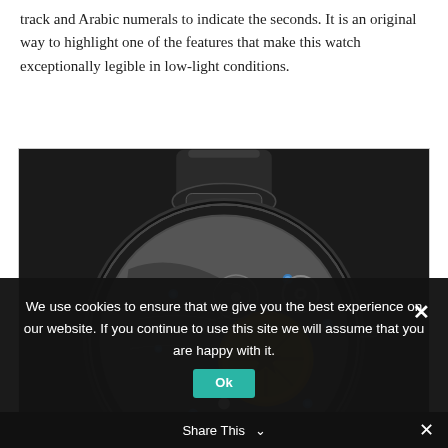track and Arabic numerals to indicate the seconds. It is an original way to highlight one of the features that make this watch exceptionally legible in low-light conditions.
[Figure (photo): Close-up photograph of the back of a luxury watch showing the mechanical movement through a transparent case back. The movement has a dark/black finish with gold-colored gears, blue screws, and intricate mechanical components visible.]
We use cookies to ensure that we give you the best experience on our website. If you continue to use this site we will assume that you are happy with it.
Share This